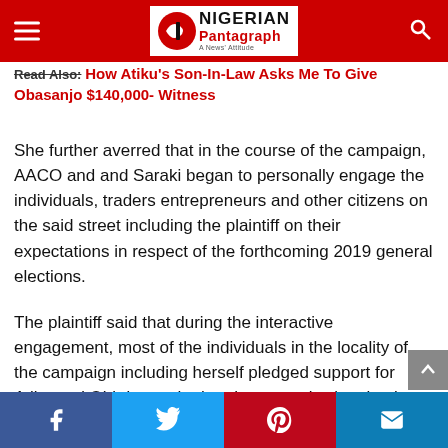Nigerian Pantagraph — A News Attitude
Read Also: How Atiku's Son-In-Law Asks Me To Give Obasanjo $140,000- Witness
She further averred that in the course of the campaign, AACO and and Saraki began to personally engage the individuals, traders entrepreneurs and other citizens on the said street including the plaintiff on their expectations in respect of the forthcoming 2019 general elections.
The plaintiff said that during the interactive engagement, most of the individuals in the locality of the campaign including herself pledged support for Atiku and Obi due to the harsh economic situation in the country.
Social share bar: Facebook, Twitter, Pinterest, Email